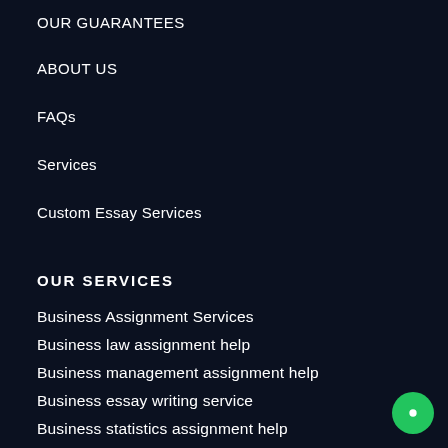OUR GUARANTEES
ABOUT US
FAQs
Services
Custom Essay Services
OUR SERVICES
Business Assignment Services
Business law assignment help
Business management assignment help
Business essay writing service
Business statistics assignment help
Business analytics assignment help